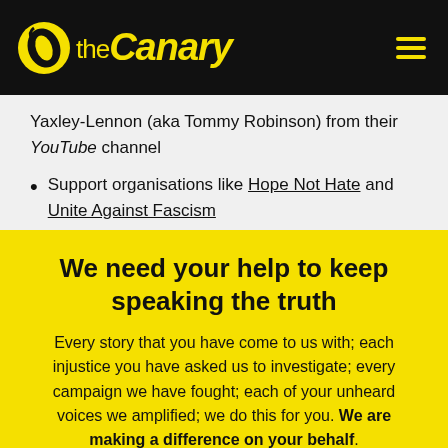the Canary
Yaxley-Lennon (aka Tommy Robinson) from their YouTube channel
Support organisations like Hope Not Hate and Unite Against Fascism
We need your help to keep speaking the truth
Every story that you have come to us with; each injustice you have asked us to investigate; every campaign we have fought; each of your unheard voices we amplified; we do this for you. We are making a difference on your behalf.
Our fight is your fight. You've supported our